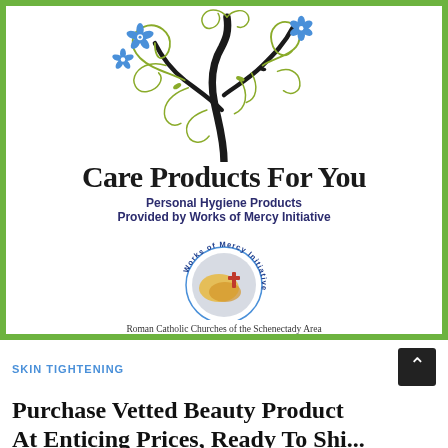[Figure (logo): Care Products For You logo with decorative tree illustration (black branches with olive green swirls and blue flowers), subtitle 'Personal Hygiene Products Provided by Works of Mercy Initiative', and the Works of Mercy Initiative circular logo with text 'Roman Catholic Churches of the Schenectady Area'. Framed with a bright green border.]
SKIN TIGHTENING
Purchase Vetted Beauty Product At Enticing Prices, Ready To Ship...